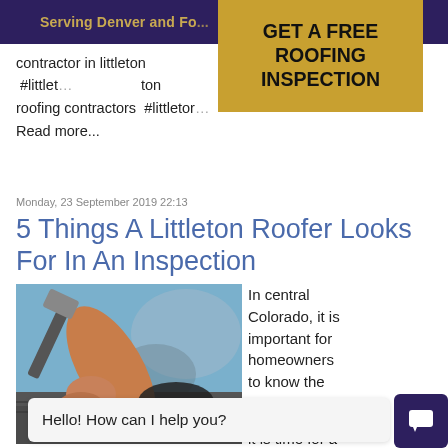Serving Denver and Fo...
[Figure (other): GET A FREE ROOFING INSPECTION call-to-action box in gold/yellow background]
contractor in littleton #littlet... ton roofing contractors #littletor...
Read more...
Monday, 23 September 2019 22:13
5 Things A Littleton Roofer Looks For In An Inspection
[Figure (photo): Person hammering roofing shingles on a roof, close-up of arm and hammer]
In central Colorado, it is important for homeowners to know the signs professional... it is time for a
Hello! How can I help you?